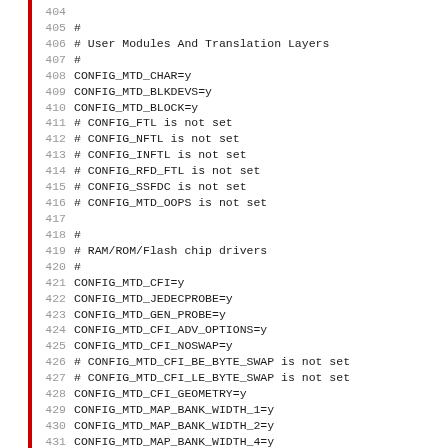Lines 404-435 of a Linux kernel configuration file showing MTD (Memory Technology Device) settings including User Modules And Translation Layers and RAM/ROM/Flash chip drivers sections.